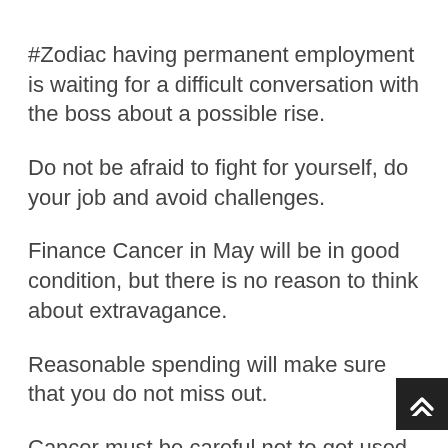#Zodiac having permanent employment is waiting for a difficult conversation with the boss about a possible rise.
Do not be afraid to fight for yourself, do your job and avoid challenges.
Finance Cancer in May will be in good condition, but there is no reason to think about extravagance.
Reasonable spending will make sure that you do not miss out.
Cancer must be careful not to get used because many people will try to stretch the